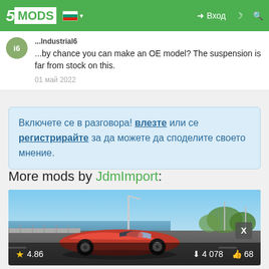5MODS — Вход
...by chance you can make an OE model? The suspension is far from stock on this.
01 май 2022
Включете се в разговора! влезте или се регистрирайте за да можете да споделите своето мнение.
More mods by JdmImport:
[Figure (photo): Red sports convertible car driving on a highway overpass, blue sky and water in background. Rating: 4.86 stars, 4 078 downloads, 68 likes.]